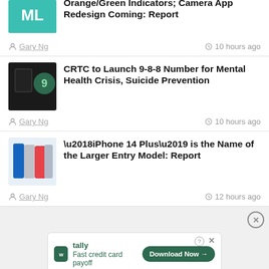iPhone 14 Pro: The Camera to Show Orange/Green Indicators; Camera App Redesign Coming: Report
Gary Ng · 10 hours ago
CRTC to Launch 9-8-8 Number for Mental Health Crisis, Suicide Prevention
Gary Ng · 10 hours ago
‘iPhone 14 Plus’ is the Name of the Larger Entry Model: Report
Gary Ng · 12 hours ago
[Figure (screenshot): Tally ad: Fast credit card payoff with Download Now button]